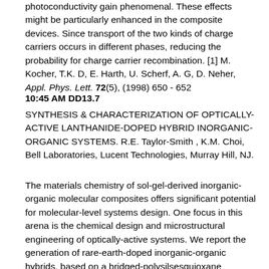photoconductivity gain phenomenal. These effects might be particularly enhanced in the composite devices. Since transport of the two kinds of charge carriers occurs in different phases, reducing the probability for charge carrier recombination. [1] M. Kocher, T.K. D, E. Harth, U. Scherf, A. G, D. Neher, Appl. Phys. Lett. 72(5), (1998) 650 - 652
10:45 AM DD13.7
SYNTHESIS & CHARACTERIZATION OF OPTICALLY-ACTIVE LANTHANIDE-DOPED HYBRID INORGANIC-ORGANIC SYSTEMS. R.E. Taylor-Smith , K.M. Choi, Bell Laboratories, Lucent Technologies, Murray Hill, NJ.
The materials chemistry of sol-gel-derived inorganic-organic molecular composites offers significant potential for molecular-level systems design. One focus in this arena is the chemical design and microstructural engineering of optically-active systems. We report the generation of rare-earth-doped inorganic-organic hybrids, based on a bridged-polysilsesquioxane architecture. Derived from lanthanide precursors such as erbium isopropoxide, which we co-condense with the requisite silsesquioxane monomer, these